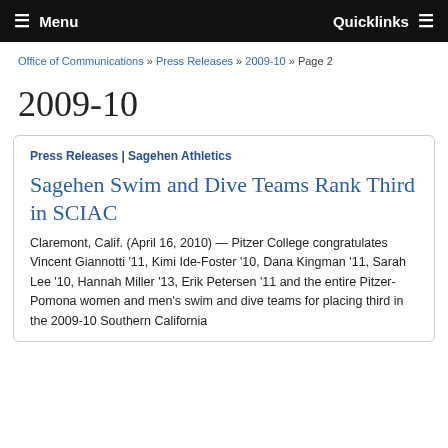Menu   Quicklinks
Office of Communications » Press Releases » 2009-10 » Page 2
2009-10
Press Releases | Sagehen Athletics
Sagehen Swim and Dive Teams Rank Third in SCIAC
Claremont, Calif. (April 16, 2010) — Pitzer College congratulates Vincent Giannotti '11, Kimi Ide-Foster '10, Dana Kingman '11, Sarah Lee '10, Hannah Miller '13, Erik Petersen '11 and the entire Pitzer-Pomona women and men's swim and dive teams for placing third in the 2009-10 Southern California